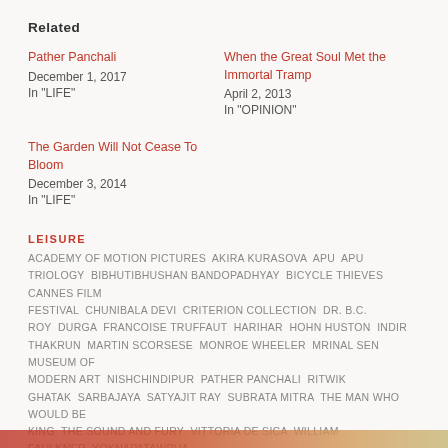Related
Pather Panchali
December 1, 2017
In "LIFE"
When the Great Soul Met the Immortal Tramp
April 2, 2013
In "OPINION"
The Garden Will Not Cease To Bloom
December 3, 2014
In "LIFE"
LEISURE
ACADEMY OF MOTION PICTURES  AKIRA KURASOVA  APU  APU TRIOLOGY  BIBHUTIBHUSHAN BANDOPADHYAY  BICYCLE THIEVES  CANNES FILM FESTIVAL  CHUNIBALA DEVI  CRITERION COLLECTION  DR. B.C. ROY  DURGA  FRANCOISE TRUFFAUT  HARIHAR  HOHN HUSTON  INDIR THAKRUN  MARTIN SCORSESE  MONROE WHEELER  MRINAL SEN  MUSEUM OF MODERN ART  NISHCHINDIPUR  PATHER PANCHALI  RITWIK GHATAK  SARBAJAYA  SATYAJIT RAY  SUBRATA MITRA  THE MAN WHO WOULD BE KING  THE SOUND AND FURY  VITTORIA DE SICA  WILLIAM FAULKNER  YOKNAPATAWPHA